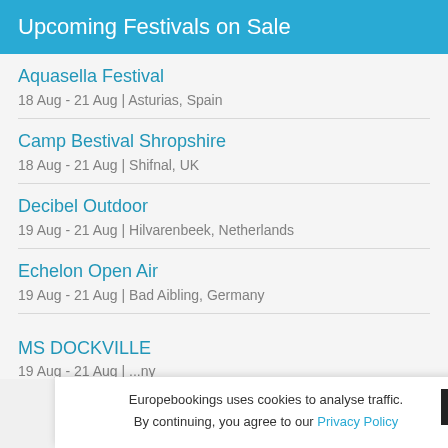Upcoming Festivals on Sale
Aquasella Festival
18 Aug - 21 Aug | Asturias, Spain
Camp Bestival Shropshire
18 Aug - 21 Aug | Shifnal, UK
Decibel Outdoor
19 Aug - 21 Aug | Hilvarenbeek, Netherlands
Echelon Open Air
19 Aug - 21 Aug | Bad Aibling, Germany
MS DOCKVILLE
19 Aug - 21 Aug | ...ny
Europebookings uses cookies to analyse traffic. By continuing, you agree to our Privacy Policy